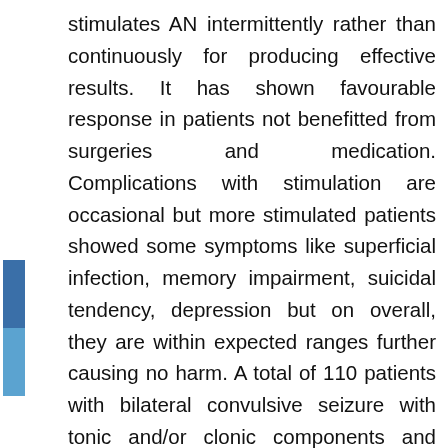stimulates AN intermittently rather than continuously for producing effective results. It has shown favourable response in patients not benefitted from surgeries and medication. Complications with stimulation are occasional but more stimulated patients showed some symptoms like superficial infection, memory impairment, suicidal tendency, depression but on overall, they are within expected ranges further causing no harm. A total of 110 patients with bilateral convulsive seizure with tonic and/or clonic components and refractory partial seizures were randomized. For 3 mo of blinded phase, stimulation was given to only half (1:1) of the subjects, after 3 mo unblinded stimulation was followed. By 2 y, 54 % have ≥50 % reduction in